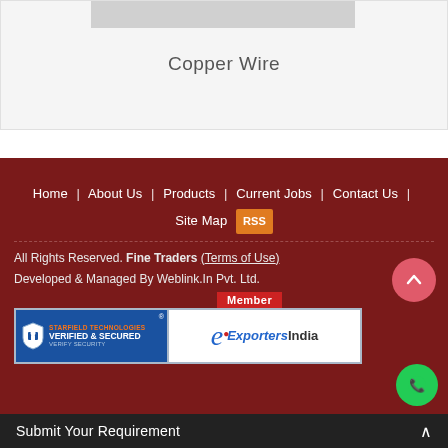Copper Wire
Home | About Us | Products | Current Jobs | Contact Us | Site Map RSS
All Rights Reserved. Fine Traders (Terms of Use)
Developed & Managed By Weblink.In Pvt. Ltd.
[Figure (logo): Starfield Technologies Verified & Secured badge]
[Figure (logo): ExportersIndia Member badge]
Submit Your Requirement